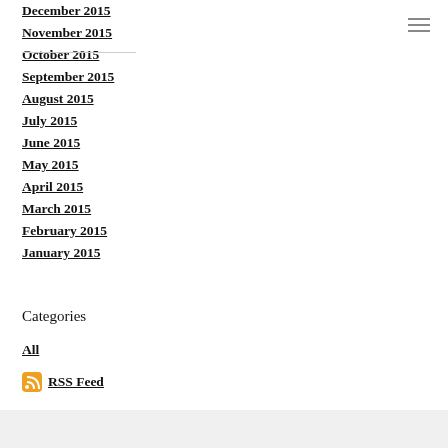December 2015
November 2015
October 2015
September 2015
August 2015
July 2015
June 2015
May 2015
April 2015
March 2015
February 2015
January 2015
Categories
All
RSS Feed